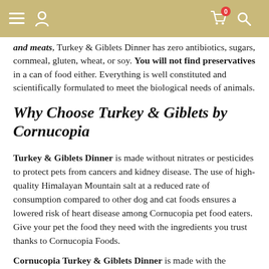[Navigation icons: menu, user, cart (0), search]
and meats, Turkey & Giblets Dinner has zero antibiotics, sugars, cornmeal, gluten, wheat, or soy. You will not find preservatives in a can of food either. Everything is well constituted and scientifically formulated to meet the biological needs of animals.
Why Choose Turkey & Giblets by Cornucopia
Turkey & Giblets Dinner is made without nitrates or pesticides to protect pets from cancers and kidney disease. The use of high-quality Himalayan Mountain salt at a reduced rate of consumption compared to other dog and cat foods ensures a lowered risk of heart disease among Cornucopia pet food eaters. Give your pet the food they need with the ingredients you trust thanks to Cornucopia Foods.
Cornucopia Turkey & Giblets Dinner is made with the